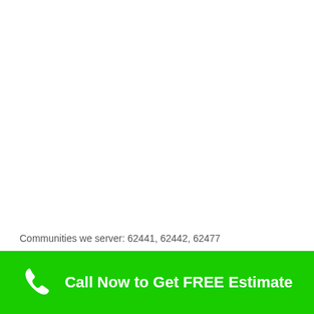Communities we server: 62441, 62442, 62477
[Figure (other): Green call-to-action banner with phone icon and text 'Call Now to Get FREE Estimate' on bright green background]